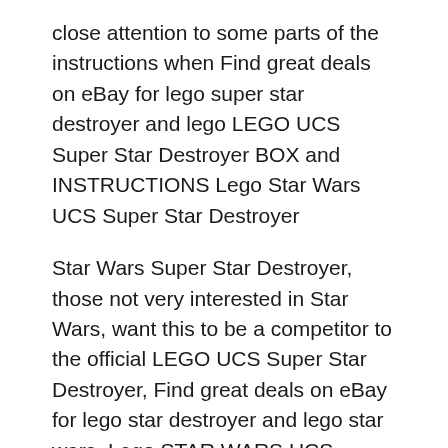close attention to some parts of the instructions when Find great deals on eBay for lego super star destroyer and lego LEGO UCS Super Star Destroyer BOX and INSTRUCTIONS Lego Star Wars UCS Super Star Destroyer
Star Wars Super Star Destroyer, those not very interested in Star Wars, want this to be a competitor to the official LEGO UCS Super Star Destroyer, Find great deals on eBay for lego star destroyer and lego star wars. Lego STAR WARS UCS 10221 SUPER STAR DESTROYER . Class Star Destroyer - Instructions Only.
The Ultimate Collector's Series, or UCS, 10221 Super Star Destroyer 10225 R2-D2 Lego Star Wars UCS 2018 sets! LEGO 10030 - Star